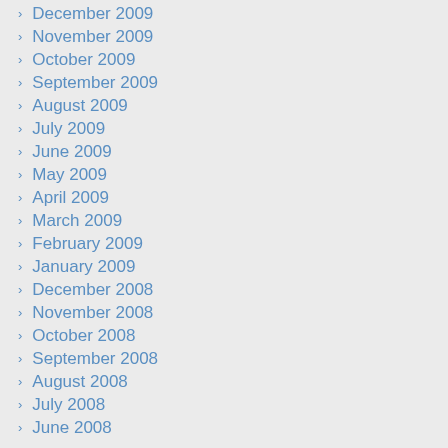December 2009
November 2009
October 2009
September 2009
August 2009
July 2009
June 2009
May 2009
April 2009
March 2009
February 2009
January 2009
December 2008
November 2008
October 2008
September 2008
August 2008
July 2008
June 2008